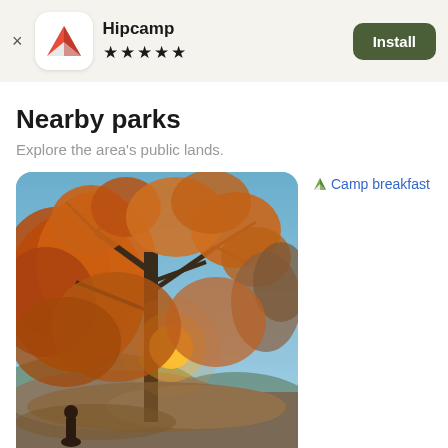Hipcamp ★★★★★ Install
Nearby parks
Explore the area's public lands.
[Figure (photo): Autumn tree with orange foliage backlit by sunset on rocky outcrop, with hiker silhouette below]
Camp breakfast